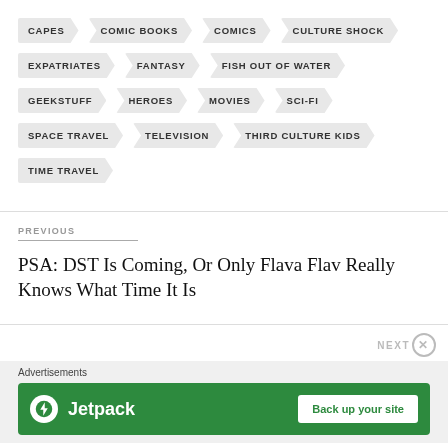CAPES
COMIC BOOKS
COMICS
CULTURE SHOCK
EXPATRIATES
FANTASY
FISH OUT OF WATER
GEEKSTUFF
HEROES
MOVIES
SCI-FI
SPACE TRAVEL
TELEVISION
THIRD CULTURE KIDS
TIME TRAVEL
PREVIOUS
PSA: DST Is Coming, Or Only Flava Flav Really Knows What Time It Is
Advertisements
[Figure (illustration): Jetpack advertisement banner with green background, Jetpack logo and text, and a 'Back up your site' button]